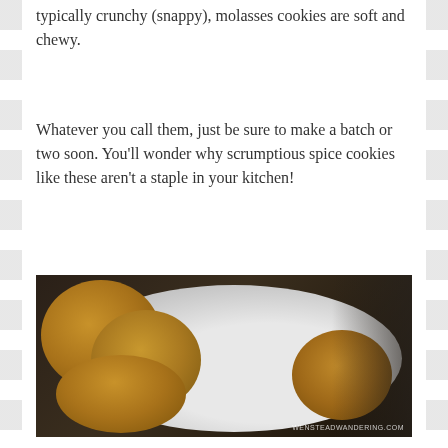typically crunchy (snappy), molasses cookies are soft and chewy.
Whatever you call them, just be sure to make a batch or two soon. You'll wonder why scrumptious spice cookies like these aren't a staple in your kitchen!
[Figure (photo): A plate of soft, round molasses/spice cookies piled on a decorative white plate with lacy edges, against a dark background. Watermark reads WENSTEADWANDERING.COM]